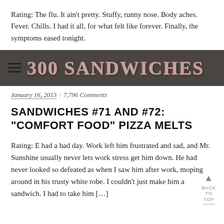Rating: The flu. It ain't pretty. Stuffy, runny nose. Body aches. Fever. Chills. I had it all, for what felt like forever. Finally, the symptoms eased tonight.
[Figure (logo): 300 Sandwiches blog banner with dark brownish background, hamburger menu icon on left, and stylized '300 SANDWICHES' title text in pink/rose decorative font]
January 16, 2013 / 7,796 Comments
SANDWICHES #71 AND #72: "COMFORT FOOD" PIZZA MELTS
Rating: E had a bad day. Work left him frustrated and sad, and Mr. Sunshine usually never lets work stress get him down. He had never looked so defeated as when I saw him after work, moping around in his trusty white robe. I couldn't just make him a sandwich. I had to take him [...]